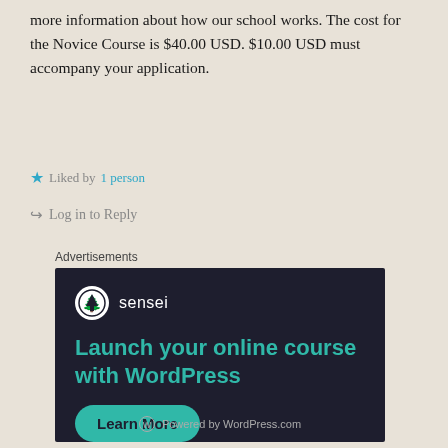more information about how our school works. The cost for the Novice Course is $40.00 USD. $10.00 USD must accompany your application.
Liked by 1 person
Log in to Reply
Advertisements
[Figure (infographic): Sensei advertisement with dark navy background. Shows Sensei logo (tree icon in circle) with text 'sensei', headline 'Launch your online course with WordPress' in teal, a green 'Learn More' button, and 'Powered by WordPress.com' footer.]